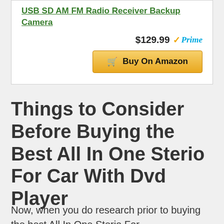USB SD AM FM Radio Receiver Backup Camera
$129.99 ✓Prime
Buy On Amazon
Things to Consider Before Buying the Best All In One Sterio For Car With Dvd Player
Now, when you do research prior to buying the best All In One Sterio For